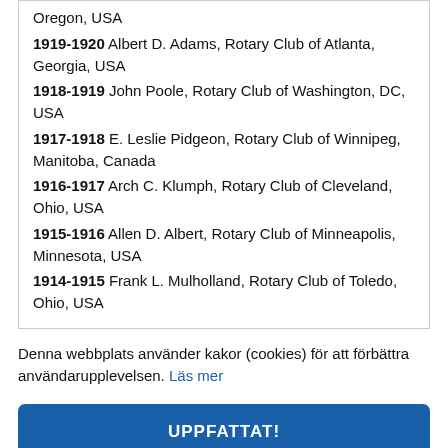Oregon, USA
1919-1920 Albert D. Adams, Rotary Club of Atlanta, Georgia, USA
1918-1919 John Poole, Rotary Club of Washington, DC, USA
1917-1918 E. Leslie Pidgeon, Rotary Club of Winnipeg, Manitoba, Canada
1916-1917 Arch C. Klumph, Rotary Club of Cleveland, Ohio, USA
1915-1916 Allen D. Albert, Rotary Club of Minneapolis, Minnesota, USA
1914-1915 Frank L. Mulholland, Rotary Club of Toledo, Ohio, USA
Denna webbplats använder kakor (cookies) för att förbättra användarupplevelsen. Läs mer
UPPFATTAT!